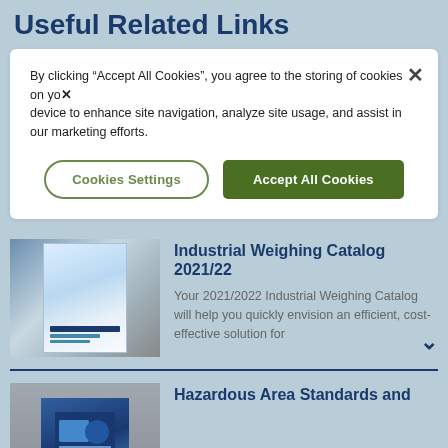Useful Related Links
By clicking “Accept All Cookies”, you agree to the storing of cookies on your device to enhance site navigation, analyze site usage, and assist in our marketing efforts.
Cookies Settings
Accept All Cookies
[Figure (photo): Thumbnail of Industrial Weighing Catalog 2021/22 booklet cover]
Industrial Weighing Catalog 2021/22
Your 2021/2022 Industrial Weighing Catalog will help you quickly envision an efficient, cost-effective solution for
[Figure (photo): Thumbnail of Hazardous Area Standards and booklet cover with person in industrial setting]
Hazardous Area Standards and